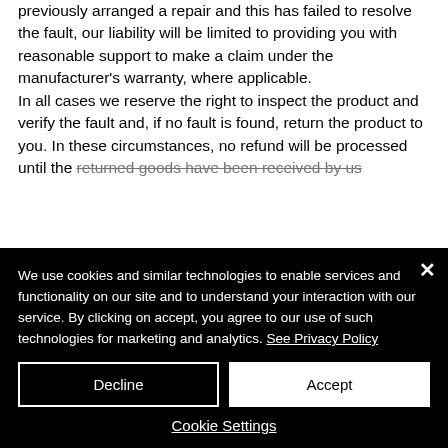previously arranged a repair and this has failed to resolve the fault, our liability will be limited to providing you with reasonable support to make a claim under the manufacturer's warranty, where applicable. In all cases we reserve the right to inspect the product and verify the fault and, if no fault is found, return the product to you. In these circumstances, no refund will be processed until the returned goods have been received by us.
We use cookies and similar technologies to enable services and functionality on our site and to understand your interaction with our service. By clicking on accept, you agree to our use of such technologies for marketing and analytics. See Privacy Policy
Decline
Accept
Cookie Settings